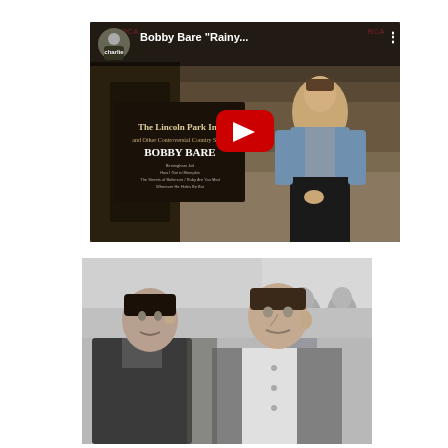[Figure (screenshot): YouTube video thumbnail showing Bobby Bare album cover 'The Lincoln Park Inn' with a man standing outdoors. Title bar reads: Bobby Bare "Rainy..." with a circular avatar and three-dot menu. Red play button in center.]
[Figure (photo): Black and white photograph of two men in conversation, one in a dark blazer and one in a white t-shirt with a cardigan. Additional people visible in the background.]